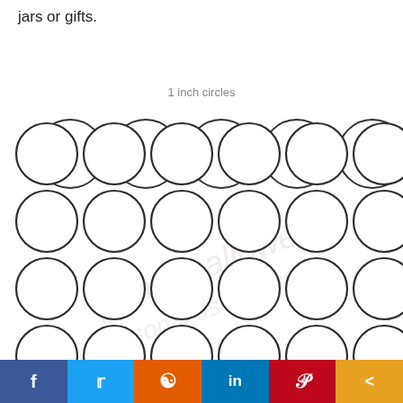jars or gifts.
1 inch circles
[Figure (illustration): Grid of 1-inch circles arranged in 5 rows of 6 circles each, with the bottom row partially visible. Circles are outlined in dark grey with white fill on white background. A faint watermark text is visible across the lower portion of the circles.]
Share buttons: Facebook, Twitter, Reddit, LinkedIn, Pinterest, Share